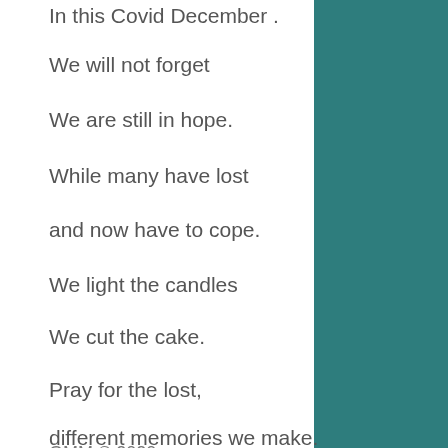In this Covid December .
We will not forget
We are still in hope.
While many have lost
and now have to cope.
We light the candles
We cut the cake.
Pray for the lost,
different memories we make.
GMM © 2020